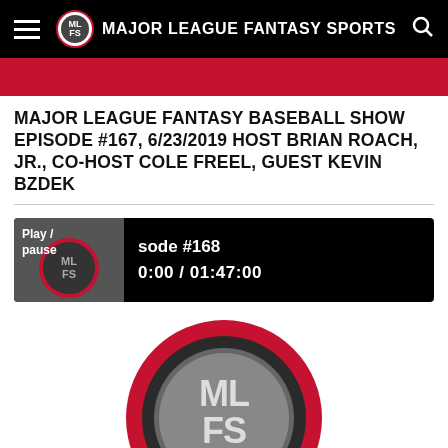[Figure (logo): Major League Fantasy Sports navigation bar with hamburger menu, MLFS circular logo, site name text, and search icon on black background]
[Figure (screenshot): Red banner strip partially visible at top of content area]
MAJOR LEAGUE FANTASY BASEBALL SHOW EPISODE #167, 6/23/2019 HOST BRIAN ROACH, JR., CO-HOST COLE FREEL, GUEST KEVIN BZDEK
[Figure (screenshot): Audio player widget showing episode #168, time 0:00 / 01:47:00, with play/pause button and MLFS thumbnail]
[Figure (logo): Large MLFS (Major League Fantasy Sports) logo with red circular border, dark metallic background, white MLFS letters, and red architectural elements with stars at bottom]